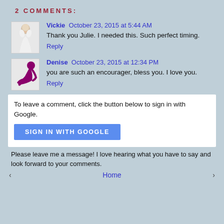2 COMMENTS:
Vickie  October 23, 2015 at 5:44 AM
Thank you Julie. I needed this. Such perfect timing.
Reply
Denise  October 23, 2015 at 12:34 PM
you are such an encourager, bless you. I love you.
Reply
To leave a comment, click the button below to sign in with Google.
SIGN IN WITH GOOGLE
Please leave me a message! I love hearing what you have to say and look forward to your comments.
‹  Home  ›